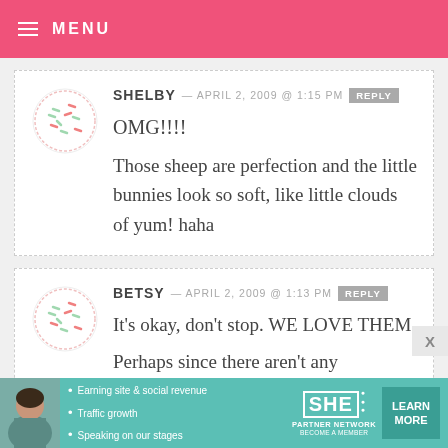MENU
SHELBY — APRIL 2, 2009 @ 1:15 PM   REPLY
OMG!!!!
Those sheep are perfection and the little bunnies look so soft, like little clouds of yum! haha
BETSY — APRIL 2, 2009 @ 1:13 PM   REPLY
It's okay, don't stop. WE LOVE THEM.
Perhaps since there aren't any
[Figure (infographic): SHE Partner Network advertisement banner: Earning site & social revenue, Traffic growth, Speaking on our stages. LEARN MORE button.]